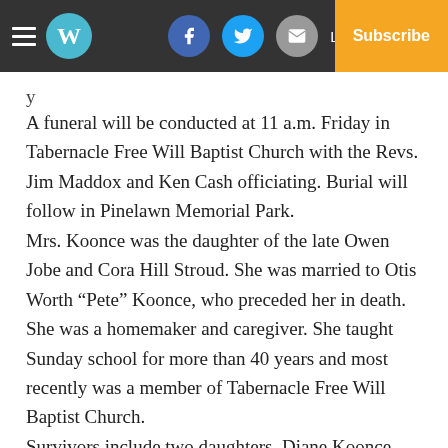W [logo] | Facebook | Twitter | Email | Log In | Subscribe
A funeral will be conducted at 11 a.m. Friday in Tabernacle Free Will Baptist Church with the Revs. Jim Maddox and Ken Cash officiating. Burial will follow in Pinelawn Memorial Park.
Mrs. Koonce was the daughter of the late Owen Jobe and Cora Hill Stroud. She was married to Otis Worth “Pete” Koonce, who preceded her in death. She was a homemaker and caregiver. She taught Sunday school for more than 40 years and most recently was a member of Tabernacle Free Will Baptist Church.
Survivors include two daughters, Diane Koonce